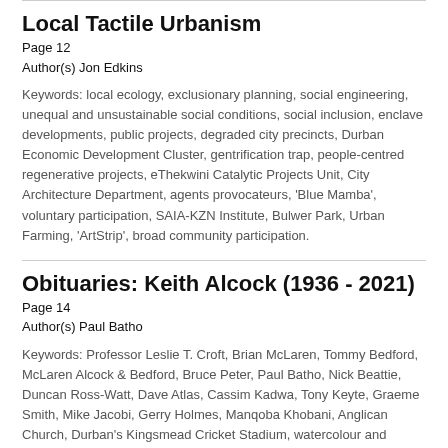Local Tactile Urbanism
Page 12
Author(s) Jon Edkins
Keywords: local ecology, exclusionary planning, social engineering, unequal and unsustainable social conditions, social inclusion, enclave developments, public projects, degraded city precincts, Durban Economic Development Cluster, gentrification trap, people-centred regenerative projects, eThekwini Catalytic Projects Unit, City Architecture Department, agents provocateurs, 'Blue Mamba', voluntary participation, SAIA-KZN Institute, Bulwer Park, Urban Farming, 'ArtStrip', broad community participation.
Obituaries: Keith Alcock (1936 - 2021)
Page 14
Author(s) Paul Batho
Keywords: Professor Leslie T. Croft, Brian McLaren, Tommy Bedford, McLaren Alcock & Bedford, Bruce Peter, Paul Batho, Nick Beattie, Duncan Ross-Watt, Dave Atlas, Cassim Kadwa, Tony Keyte, Graeme Smith, Mike Jacobi, Gerry Holmes, Manqoba Khobani, Anglican Church, Durban's Kingsmead Cricket Stadium, watercolour and perspective artist, drawing